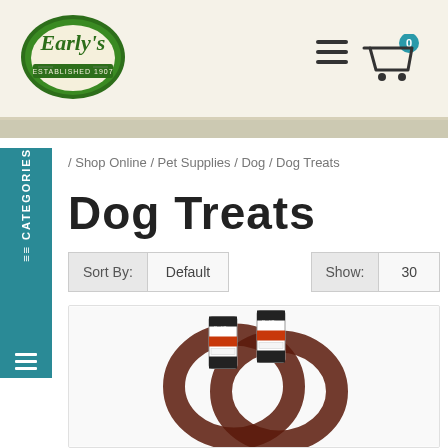[Figure (logo): Early's established 1907 logo in green script with circular badge]
Early's - online shop header with hamburger menu and cart icon showing 0 items
/ Shop Online / Pet Supplies / Dog / Dog Treats
Dog Treats
Sort By: Default    Show: 30
[Figure (photo): Dog treat beef rings product photo showing two packages with brown looped treats]